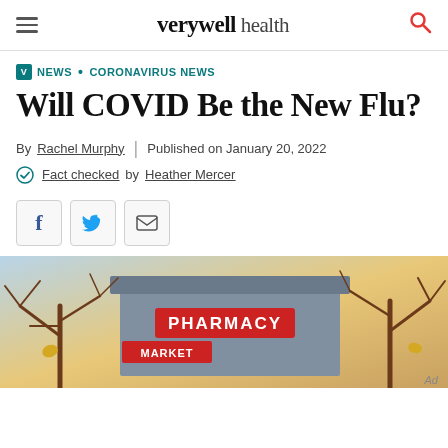verywell health
NEWS · CORONAVIRUS NEWS
Will COVID Be the New Flu?
By Rachel Murphy | Published on January 20, 2022
Fact checked by Heather Mercer
[Figure (illustration): Illustration of a pharmacy storefront with bare winter trees and autumn leaves, showing signs for PHARMACY and MARKET]